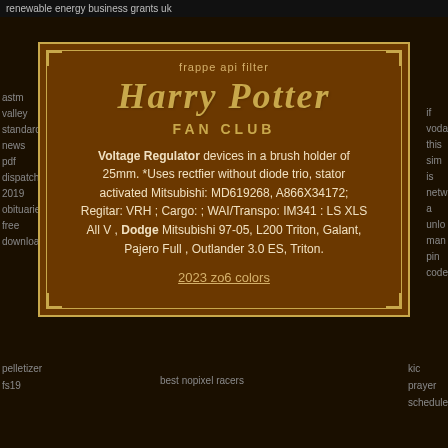renewable energy business grants uk
frappe api filter
Harry Potter FAN CLUB
Voltage Regulator devices in a brush holder of 25mm. *Uses rectfier without diode trio, stator activated Mitsubishi: MD619268, A866X34172; Regitar: VRH ; Cargo: ; WAI/Transpo: IM341 : LS XLS All V , Dodge Mitsubishi 97-05, L200 Triton, Galant, Pajero Full , Outlander 3.0 ES, Triton.
2023 zo6 colors
astm valley standards news pdf dispatch 2019 obituaries free download
if voda this sim is netw a unlo man pin code
pelletizer fs19
best nopixel racers
kic prayer schedule